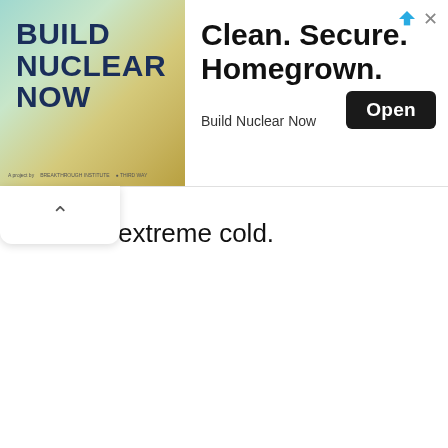[Figure (illustration): Advertisement banner for 'Build Nuclear Now'. Left side shows a teal/green/tan topographic background with bold dark navy text reading 'BUILD NUCLEAR NOW'. Right side shows text 'Clean. Secure. Homegrown.' with an 'Open' button and tagline 'Build Nuclear Now'. Top right has an advertising arrow icon and close X button.]
extreme cold.